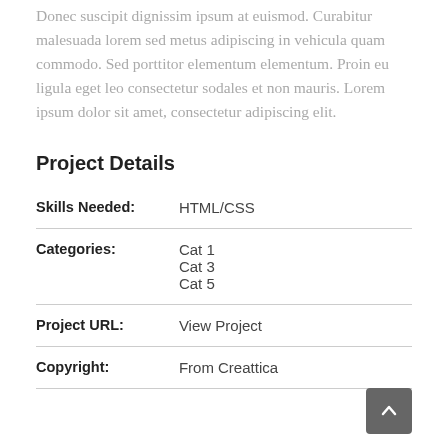Donec suscipit dignissim ipsum at euismod. Curabitur malesuada lorem sed metus adipiscing in vehicula quam commodo. Sed porttitor elementum elementum. Proin eu ligula eget leo consectetur sodales et non mauris. Lorem ipsum dolor sit amet, consectetur adipiscing elit.
Project Details
| Label | Value |
| --- | --- |
| Skills Needed: | HTML/CSS |
| Categories: | Cat 1
Cat 3
Cat 5 |
| Project URL: | View Project |
| Copyright: | From Creattica |